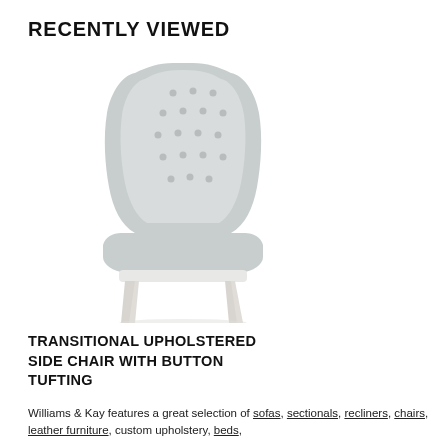RECENTLY VIEWED
[Figure (photo): A transitional upholstered dining side chair with button tufting on the back, light gray fabric upholstery, and white/cream tapered legs, photographed on a white background.]
TRANSITIONAL UPHOLSTERED SIDE CHAIR WITH BUTTON TUFTING
Williams & Kay features a great selection of sofas, sectionals, recliners, chairs, leather furniture, custom upholstery, beds,